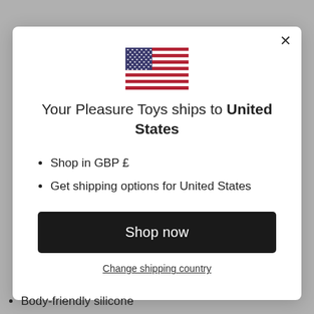[Figure (illustration): US flag icon centered in modal dialog]
Your Pleasure Toys ships to United States
Shop in GBP £
Get shipping options for United States
Shop now
Change shipping country
Body-friendly silicone